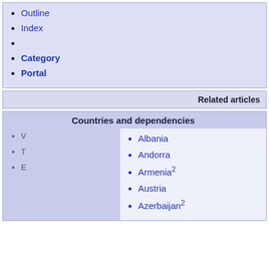Outline
Index
Category
Portal
Related articles
Countries and dependencies
V
T
E
Albania
Andorra
Armenia²
Austria
Azerbaijan²